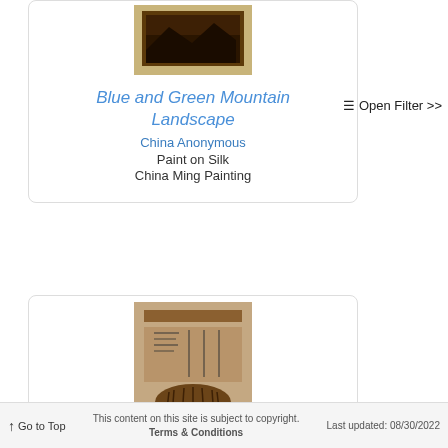[Figure (photo): Thumbnail image of Blue and Green Mountain Landscape painting on silk]
Blue and Green Mountain Landscape
China Anonymous
Paint on Silk
China Ming Painting
[Figure (photo): Thumbnail image of a second Chinese painting with calligraphy text]
Go to Top   This content on this site is subject to copyright. Terms & Conditions   Last updated: 08/30/2022